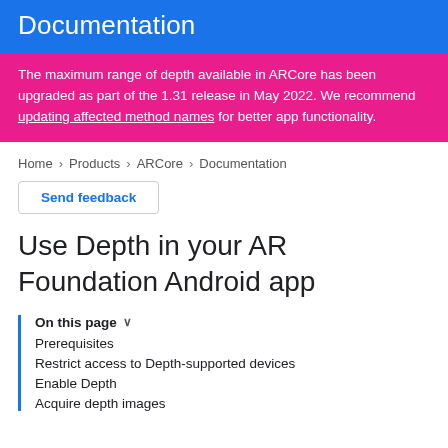Documentation
The maximum range of depth available in ARCore has been upgraded as part of the 1.31 release in May 2022. We recommend updating affected method names for better app functionality.
Home > Products > ARCore > Documentation
Send feedback
Use Depth in your AR Foundation Android app
On this page
Prerequisites
Restrict access to Depth-supported devices
Enable Depth
Acquire depth images